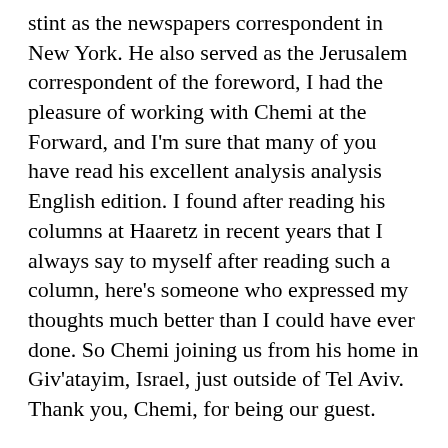stint as the newspapers correspondent in New York. He also served as the Jerusalem correspondent of the foreword, I had the pleasure of working with Chemi at the Forward, and I'm sure that many of you have read his excellent analysis analysis English edition. I found after reading his columns at Haaretz in recent years that I always say to myself after reading such a column, here's someone who expressed my thoughts much better than I could have ever done. So Chemi joining us from his home in Giv'atayim, Israel, just outside of Tel Aviv. Thank you, Chemi, for being our guest.
Chemi Shalev  02:36
My pleasure.
Ori Nir  02:39
Madeline, would you like to start?